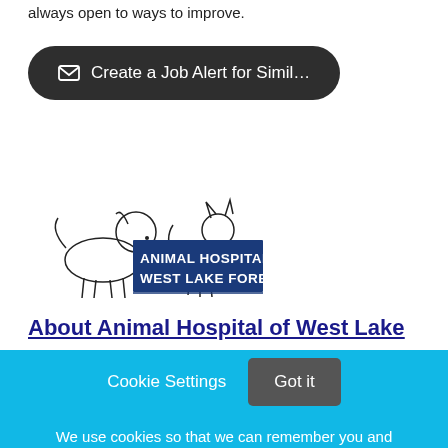always open to ways to improve.
[Figure (other): Dark rounded button with envelope icon: Create a Job Alert for Simil...]
[Figure (logo): Animal Hospital West Lake Forest logo with line drawing of a dog, cat, and rabbit]
About Animal Hospital of West Lake
Cookie Settings
Got it
We use cookies so that we can remember you and understand how you use our site. If you do not agree with our use of cookies, please change the current settings found in our Cookie Policy. Otherwise, you agree to the use of the cookies as they are currently set.